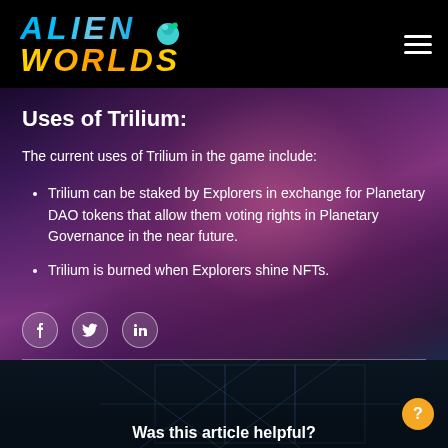Alien Worlds
Uses of Trilium:
The current uses of Trilium in the game include:
Trilium can be staked by Explorers in exchange for Planetary DAO tokens that allow them voting rights in Planetary Governance in the near future.
Trilium is burned when Explorers shine NFTs.
Was this article helpful?